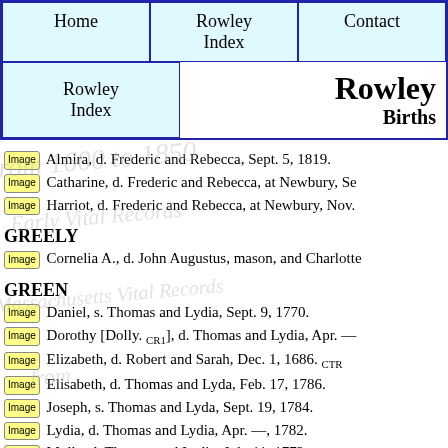| Home | Rowley Index | Contact |
| --- | --- | --- |
| Rowley Index | Rowley Births |
| --- | --- |
[Image] Almira, d. Frederic and Rebecca, Sept. 5, 1819.
[Image] Catharine, d. Frederic and Rebecca, at Newbury, Se
[Image] Harriot, d. Frederic and Rebecca, at Newbury, Nov.
GREELY
[Image] Cornelia A., d. John Augustus, mason, and Charlotte
GREEN
[Image] Daniel, s. Thomas and Lydia, Sept. 9, 1770.
[Image] Dorothy [Dolly. CR1], d. Thomas and Lydia, Apr. —
[Image] Elizabeth, d. Robert and Sarah, Dec. 1, 1686. CTR
[Image] Elisabeth, d. Thomas and Lyda, Feb. 17, 1786.
[Image] Joseph, s. Thomas and Lyda, Sept. 19, 1784.
[Image] Lydia, d. Thomas and Lydia, Apr. —, 1782.
[Image] Molly, d. Thomas and Lydia, July 11, 1772.